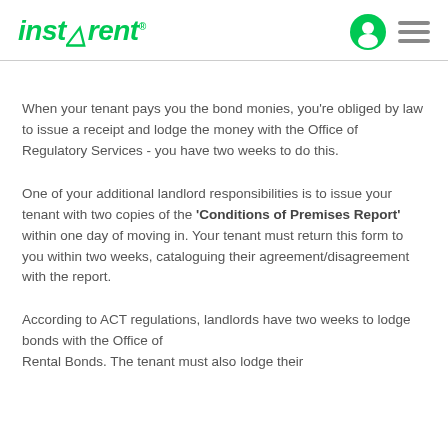instarent
When your tenant pays you the bond monies, you're obliged by law to issue a receipt and lodge the money with the Office of Regulatory Services - you have two weeks to do this.
One of your additional landlord responsibilities is to issue your tenant with two copies of the 'Conditions of Premises Report' within one day of moving in. Your tenant must return this form to you within two weeks, cataloguing their agreement/disagreement with the report.
According to ACT regulations, landlords have two weeks to lodge bonds with the Office of Rental Bonds. The tenant must also lodge their...